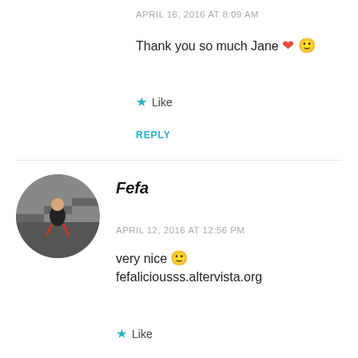APRIL 16, 2016 AT 8:09 AM
Thank you so much Jane ❤ 🙂
Like
REPLY
[Figure (photo): Circular avatar photo of a person sitting on stairs]
Fefa
APRIL 12, 2016 AT 12:56 PM
very nice 🙂
fefaliciousss.altervista.org
Like